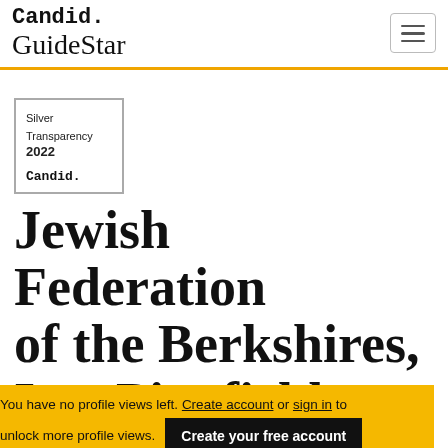Candid. GuideStar
[Figure (logo): Silver Transparency 2022 Candid. seal badge with grey border]
Jewish Federation of the Berkshires,
You have no profile views left. Create account or sign in to unlock more profile views.
Create your free account